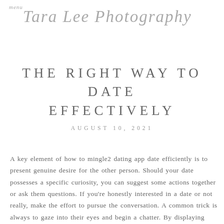menu Tara Lee Photography
THE RIGHT WAY TO DATE EFFECTIVELY
AUGUST 10, 2021
A key element of how to mingle2 dating app date efficiently is to present genuine desire for the other person. Should your date possesses a specific curiosity, you can suggest some actions together or ask them questions. If you're honestly interested in a date or not really, make the effort to pursue the conversation. A common trick is always to gaze into their eyes and begin a chatter. By displaying reputable interest, you'll likely make your